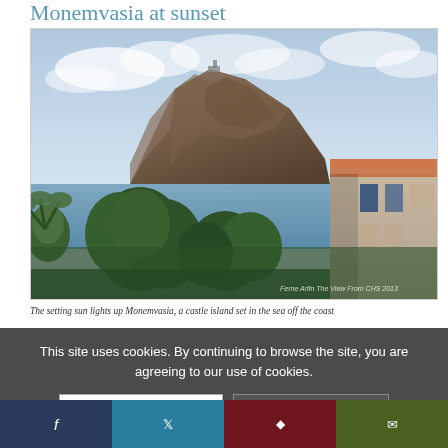Monemvasia at sunset
[Figure (photo): Photograph of Monemvasia, a large rocky castle island rising from the sea, with trees and a building in the foreground, blue sky with clouds in the background. Watermark reads: Ferne Arfin The View From CHS 2013]
The setting sun lights up Monemvasia, a castle island set in the sea off the coast of Greece's Peloponnese region. Connected to the mainland by a causeway, the
This site uses cookies. By continuing to browse the site, you are agreeing to our use of cookies.
OK
Learn more